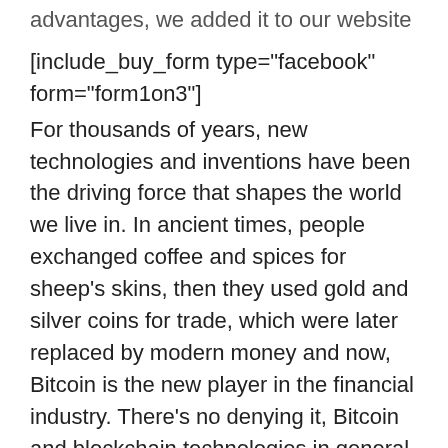advantages, we added it to our website
[include_buy_form type="facebook" form="form1on3"]
For thousands of years, new technologies and inventions have been the driving force that shapes the world we live in. In ancient times, people exchanged coffee and spices for sheep’s skins, then they used gold and silver coins for trade, which were later replaced by modern money and now, Bitcoin is the new player in the financial industry. There’s no denying it, Bitcoin and blockchain technologies in general are here to stay. Their reliability, security, anonymity, speed and small commission size make them an excellent choice for all types of financial transactions.
If you’re interested in paying for Facebook page